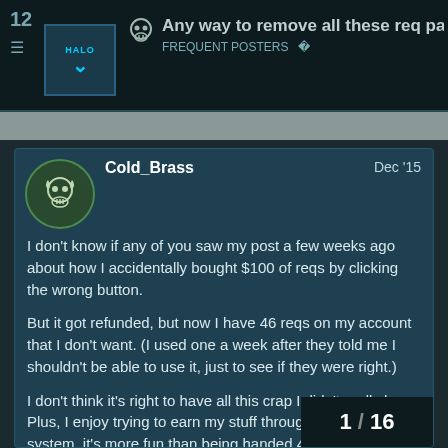12  Any way to remove all these req packs? FREQUENT POSTERS
Cold_Brass  Dec '15

I don't know if any of you saw my post a few weeks ago about how I accidentally bought $100 of reqs by clicking the wrong button.

But it got refunded, but now I have 46 reqs on my account that I don't want. (I used one a week after they told me I shouldn't be able to use it, just to see if they were right.)

I don't think it's right to have all this crap I didn't really buy. Plus, I enjoy trying to earn my stuff through the req points system, it's more fun than being handed 47 gold packs.

Ive tried Xbox support a ton of times, but none of then have been able to solve it so far. Is there any possible wa about this issue or delete them from my acc
1 / 16